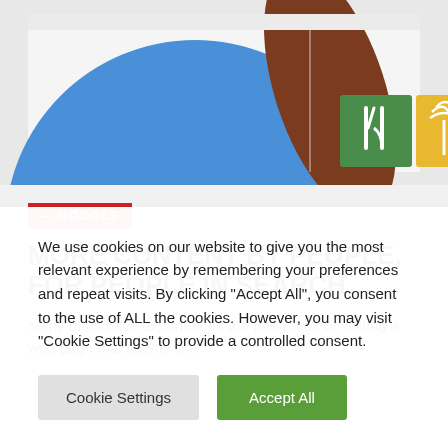[Figure (illustration): Partial illustration showing a large blue circular shape (person silhouette), a brown arm/hand, and colored tiles including a green restaurant icon and yellow palm tree icon on a light gray background.]
— GOOGLE
MORE CONTENT BY PEOPLE, FOR PEOPLE IN SEARCH
Many of us have experienced the frustration of visiting a web page that seems like
We use cookies on our website to give you the most relevant experience by remembering your preferences and repeat visits. By clicking "Accept All", you consent to the use of ALL the cookies. However, you may visit "Cookie Settings" to provide a controlled consent.
Cookie Settings   Accept All